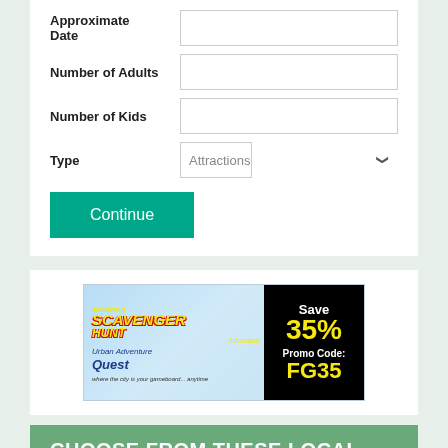Approximate Date
Number of Adults
Number of Kids
Type
Continue
[Figure (infographic): Amazing Scavenger Hunt Adventure - Urban Adventure Quest banner ad. Save 35%, Promo Code: FG35. 'where the city is your gameboard... anytime']
CHOOSE FROM THESE LOCAL